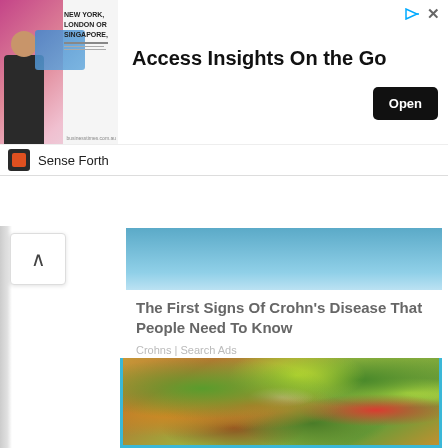[Figure (screenshot): Advertisement banner with man in suit, text 'NEW YORK, LONDON OR SINGAPORE,' with 'Access Insights On the Go' headline and black 'Open' button]
Sense Forth
The First Signs Of Crohn's Disease That People Need To Know
Crohns | Search Ads
[Figure (photo): Close-up photo of a bowl of pasta salad with vegetables including tomatoes, zucchini, spinach, kidney beans, and shaved parmesan cheese]